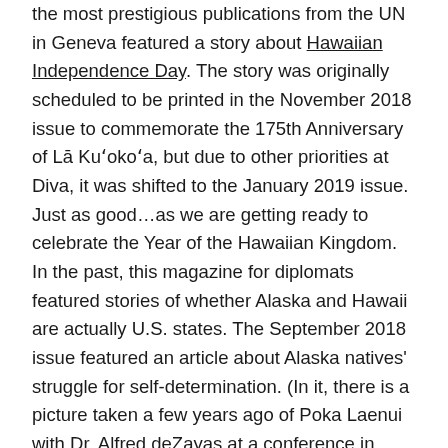the most prestigious publications from the UN in Geneva featured a story about Hawaiian Independence Day. The story was originally scheduled to be printed in the November 2018 issue to commemorate the 175th Anniversary of Lā Kuʻokoʻa, but due to other priorities at Diva, it was shifted to the January 2019 issue. Just as good…as we are getting ready to celebrate the Year of the Hawaiian Kingdom.
In the past, this magazine for diplomats featured stories of whether Alaska and Hawaii are actually U.S. states. The September 2018 issue featured an article about Alaska natives' struggle for self-determination. (In it, there is a picture taken a few years ago of Poka Laenui with Dr. Alfred deZayas at a conference in Alaska.)
In discussing topics for the article with the editor of Diva last September, we wanted to first address one of the biggest challenges we have with diplomats — getting them to grasp the fact that the Hawaiian Kingdom is already a recognized sovereign, independent country… We decided what better way to make that point than to share the compelling story of how that recognition was